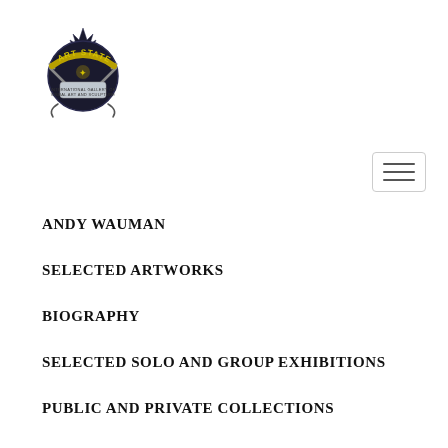[Figure (logo): Art Statements logo with crossed swords and banner design]
[Figure (other): Hamburger menu icon with three horizontal lines in a rounded rectangle]
ANDY WAUMAN
SELECTED ARTWORKS
BIOGRAPHY
SELECTED SOLO AND GROUP EXHIBITIONS
PUBLIC AND PRIVATE COLLECTIONS